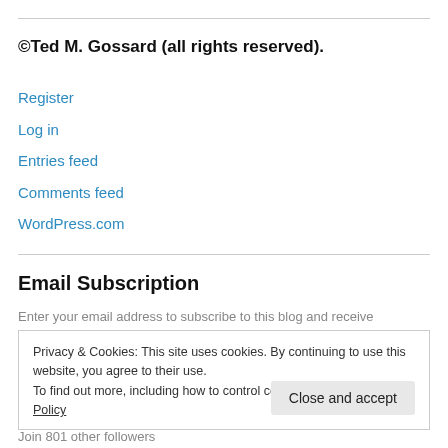©Ted M. Gossard (all rights reserved).
Register
Log in
Entries feed
Comments feed
WordPress.com
Email Subscription
Enter your email address to subscribe to this blog and receive
Privacy & Cookies: This site uses cookies. By continuing to use this website, you agree to their use.
To find out more, including how to control cookies, see here: Cookie Policy
Close and accept
Join 801 other followers